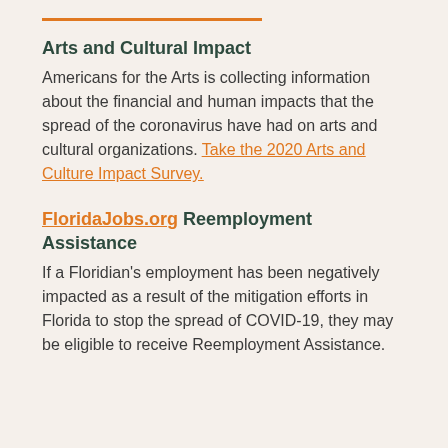Arts and Cultural Impact
Americans for the Arts is collecting information about the financial and human impacts that the spread of the coronavirus have had on arts and cultural organizations. Take the 2020 Arts and Culture Impact Survey.
FloridaJobs.org Reemployment Assistance
If a Floridian's employment has been negatively impacted as a result of the mitigation efforts in Florida to stop the spread of COVID-19, they may be eligible to receive Reemployment Assistance.